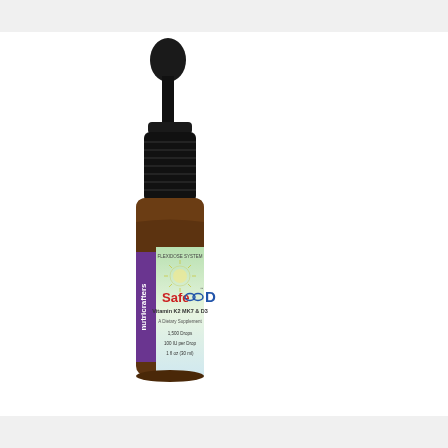[Figure (photo): A small amber glass dropper bottle with a black rubber-tipped dropper cap. The bottle has a purple side label reading 'nutricrafters' vertically, and a front label with green-to-white gradient background. The front label shows 'FLEXIDOSE SYSTEM' at top, a sunburst graphic, 'Safe D' in large text (Safe in red, D in blue), 'Vitamin K2 MK7 & D3', 'A Dietary Supplement', '1,500 Drops', '100 IU per Drop', '1 fl oz (30 ml)'.]